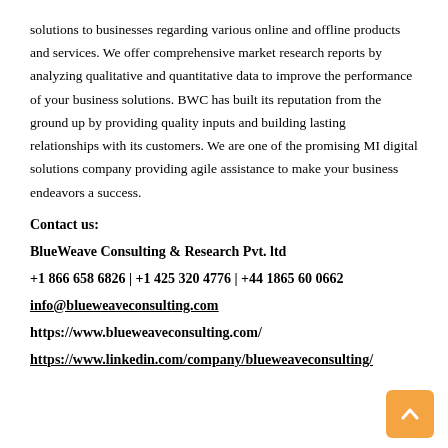solutions to businesses regarding various online and offline products and services. We offer comprehensive market research reports by analyzing qualitative and quantitative data to improve the performance of your business solutions. BWC has built its reputation from the ground up by providing quality inputs and building lasting relationships with its customers. We are one of the promising MI digital solutions company providing agile assistance to make your business endeavors a success.
Contact us:
BlueWeave Consulting & Research Pvt. ltd
+1 866 658 6826 | +1 425 320 4776 | +44 1865 60 0662
info@blueweaveconsulting.com
https://www.blueweaveconsulting.com/
https://www.linkedin.com/company/blueweaveconsulting/